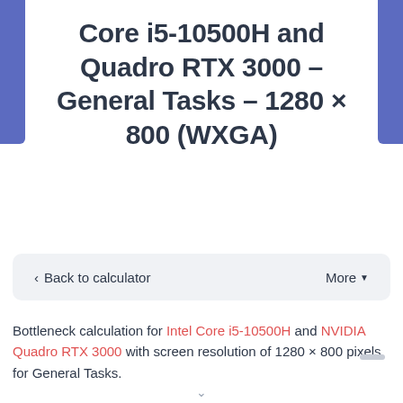Core i5-10500H and Quadro RTX 3000 - General Tasks - 1280 × 800 (WXGA)
< Back to calculator   More ▾
Bottleneck calculation for Intel Core i5-10500H and NVIDIA Quadro RTX 3000 with screen resolution of 1280 × 800 pixels for General Tasks.